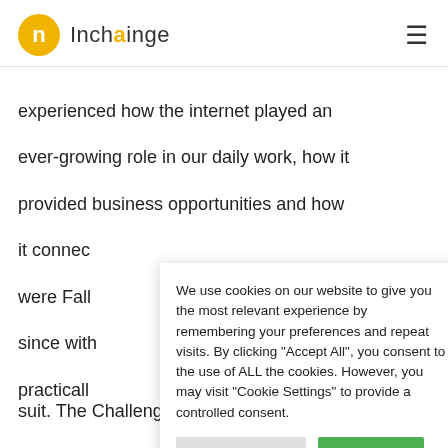Inchainge
experienced how the internet played an ever-growing role in our daily work, how it provided business opportunities and how it connec[t... were Fall... since with... practicall...
We use cookies on our website to give you the most relevant experience by remembering your preferences and repeat visits. By clicking “Accept All”, you consent to the use of ALL the cookies. However, you may visit "Cookie Settings" to provide a controlled consent.
Needless [to say...]
Challenge [...]
the Glob[al...]
suit. The Challenge rounds themselves